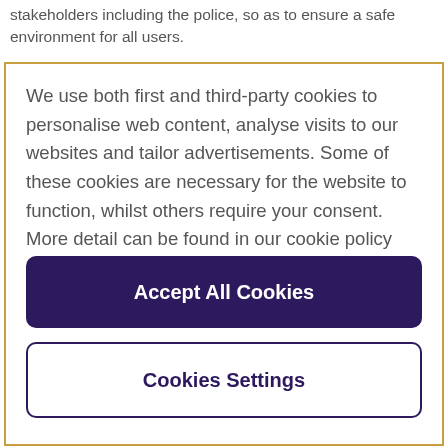stakeholders including the police, so as to ensure a safe environment for all users.
We use both first and third-party cookies to personalise web content, analyse visits to our websites and tailor advertisements. Some of these cookies are necessary for the website to function, whilst others require your consent. More detail can be found in our cookie policy and you can tailor your choices in the preference centre.
Accept All Cookies
Cookies Settings